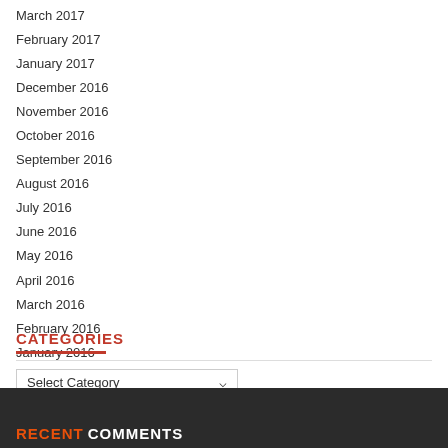March 2017
February 2017
January 2017
December 2016
November 2016
October 2016
September 2016
August 2016
July 2016
June 2016
May 2016
April 2016
March 2016
February 2016
January 2016
January 2015
CATEGORIES
RECENT COMMENTS